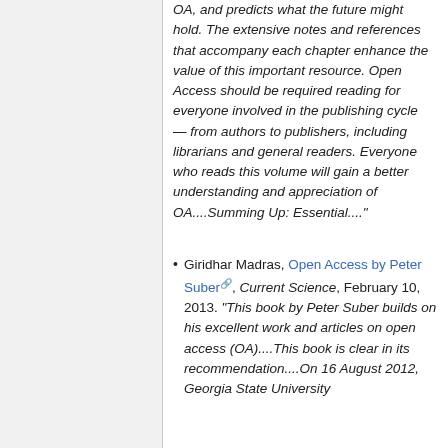OA, and predicts what the future might hold. The extensive notes and references that accompany each chapter enhance the value of this important resource. Open Access should be required reading for everyone involved in the publishing cycle — from authors to publishers, including librarians and general readers. Everyone who reads this volume will gain a better understanding and appreciation of OA....Summing Up: Essential...."
Giridhar Madras, Open Access by Peter Suber, Current Science, February 10, 2013. "This book by Peter Suber builds on his excellent work and articles on open access (OA)....This book is clear in its recommendation....On 16 August 2012, Georgia State University...